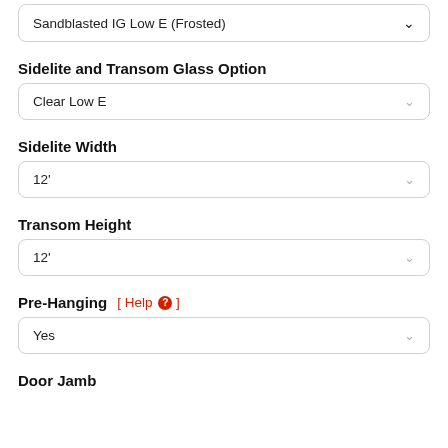Sandblasted IG Low E (Frosted)
Sidelite and Transom Glass Option
Clear Low E
Sidelite Width
12'
Transom Height
12'
Pre-Hanging  [ Help ? ]
Yes
Door Jamb